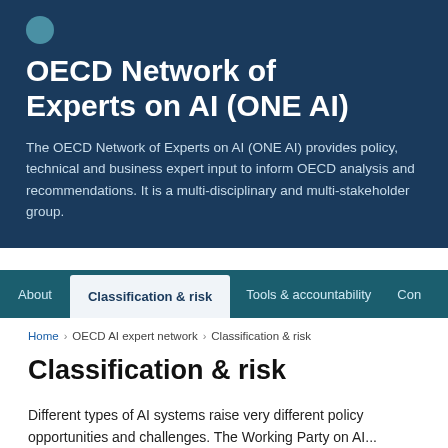OECD Network of Experts on AI (ONE AI)
The OECD Network of Experts on AI (ONE AI) provides policy, technical and business expert input to inform OECD analysis and recommendations. It is a multi-disciplinary and multi-stakeholder group.
About | Classification & risk | Tools & accountability | Con
Home > OECD AI expert network > Classification & risk
Classification & risk
Different types of AI systems raise very different policy opportunities and challenges. The Working Party on A...